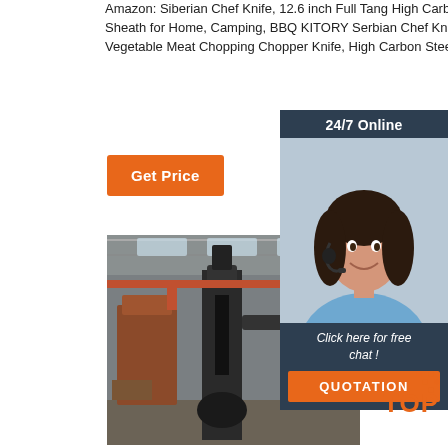Amazon: Siberian Chef Knife, 12.6 inch Full Tang High Carbon Clad Steel Butcher Knife with Leather Knife Sheath for Home, Camping, BBQ KITORY Serbian Chef Knife Forged Meat Cleaver 7.5 inch Butcher Knife Vegetable Meat Chopping Chopper Knife, High Carbon Steel, Pakkawood Handle Kitchen Cooking ...
Get Price
24/7 Online
[Figure (photo): Customer service representative woman with headset smiling]
Click here for free chat !
QUOTATION
[Figure (photo): Industrial factory floor with large metalworking machinery, overhead cranes and equipment in a warehouse setting]